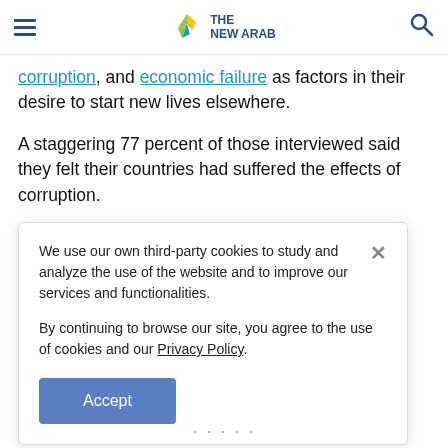THE NEWARAB
corruption, and economic failure as factors in their desire to start new lives elsewhere.
A staggering 77 percent of those interviewed said they felt their countries had suffered the effects of corruption.
We use our own third-party cookies to study and analyze the use of the website and to improve our services and functionalities.

By continuing to browse our site, you agree to the use of cookies and our Privacy Policy.

Accept